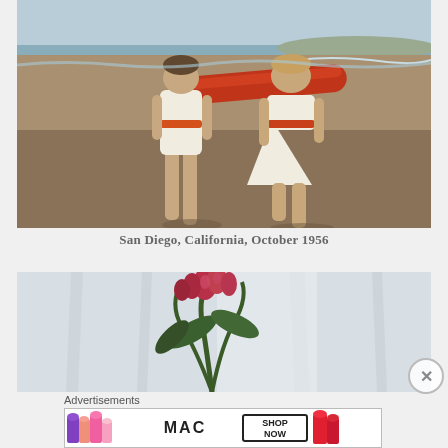[Figure (photo): Two women in white outfits with orange/red belts walking on a beach carrying a red surfboard. Sandy beach with ocean in background. Vintage color photograph.]
San Diego, California, October 1956
[Figure (photo): Indoor photo with a red/pink flower plant (orchid-like) with dark green leaves against a blurred light curtained background.]
Advertisements
[Figure (photo): MAC Cosmetics advertisement showing colorful lipsticks (purple, peach, pink, red) with MAC logo and 'SHOP NOW' text in a bordered box.]